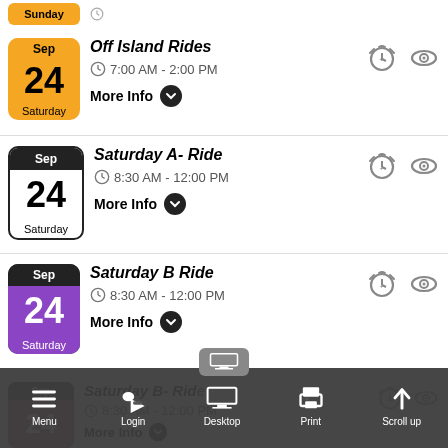[Figure (screenshot): Partial calendar event item at top - Sunday orange tile partially visible]
Off Island Rides | Sep 24 Saturday | 7:00 AM - 2:00 PM | More Info
Saturday A- Ride | Sep 24 Saturday | 8:30 AM - 12:00 PM | More Info
Saturday B Ride | Sep 24 Saturday | 8:30 AM - 12:00 PM | More Info
Saturday B- Ride | Sep 24 | 8:30 AM - 12:00 PM | More Info (partially visible)
[Figure (screenshot): Bottom toolbar overlay with Menu, Login, Desktop, Print, Scroll up buttons]